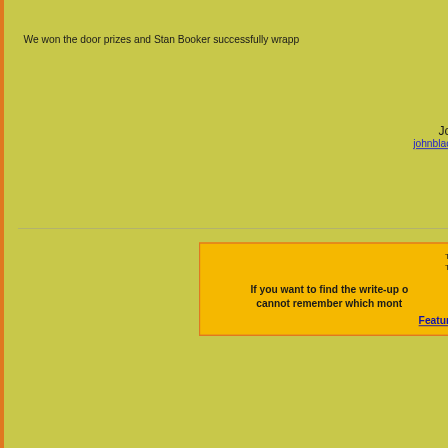We won the door prizes and Stan Booker successfully wrapp...
Jo
johnblac...
If you want to find the write-up o... cannot remember which month... Featur...